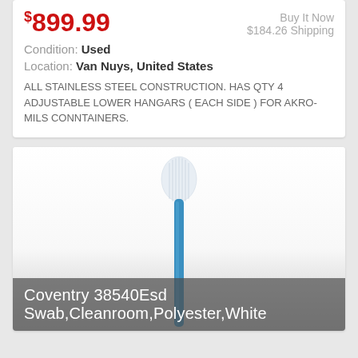$899.99
Buy It Now
$184.26 Shipping
Condition: Used
Location: Van Nuys, United States
ALL STAINLESS STEEL CONSTRUCTION. HAS QTY 4 ADJUSTABLE LOWER HANGARS ( EACH SIDE ) FOR AKRO-MILS CONNTAINERS.
[Figure (photo): A cleanroom swab with a white polyester foam tip and a blue handle, shown vertically oriented against a white background. Overlaid text reads: Coventry 38540Esd Swab,Cleanroom,Polyester,White]